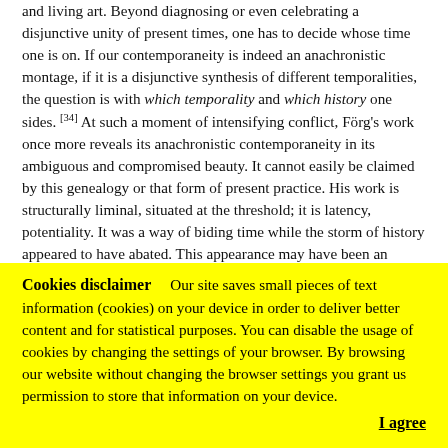and living art. Beyond diagnosing or even celebrating a disjunctive unity of present times, one has to decide whose time one is on. If our contemporaneity is indeed an anachronistic montage, if it is a disjunctive synthesis of different temporalities, the question is with which temporality and which history one sides. [34] At such a moment of intensifying conflict, Förg's work once more reveals its anachronistic contemporaneity in its ambiguous and compromised beauty. It cannot easily be claimed by this genealogy or that form of present practice. His work is structurally liminal, situated at the threshold; it is latency, potentiality. It was a way of biding time while the storm of history appeared to have abated. This appearance may have been an illusion, but it became the productive origin of a formation that
Cookies disclaimer   Our site saves small pieces of text information (cookies) on your device in order to deliver better content and for statistical purposes. You can disable the usage of cookies by changing the settings of your browser. By browsing our website without changing the browser settings you grant us permission to store that information on your device.
I agree